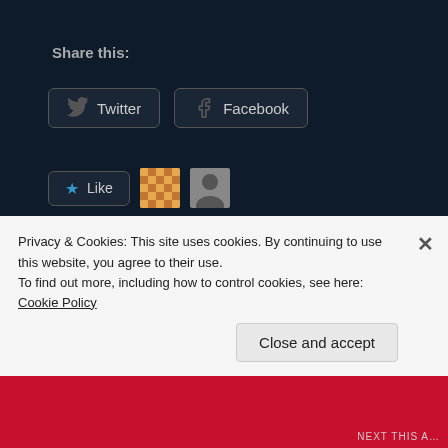Share this:
Twitter
Facebook
Like
2 bloggers like this.
Related
All you need to know about car body types
February 19, 2020
In "Auto"
Instructions to Start a Portable Diesel Generator
February 13, 2020
In "Technology"
Privacy & Cookies: This site uses cookies. By continuing to use this website, you agree to their use.
To find out more, including how to control cookies, see here: Cookie Policy
Close and accept